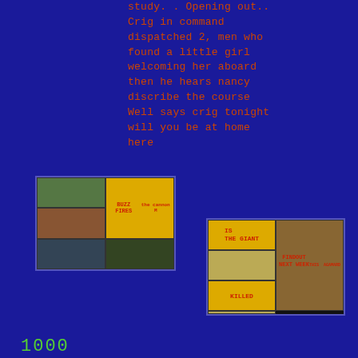study. . Opening out.. Crig in command dispatched 2, men who found a little girl welcoming her aboard then he hears nancy discribe the course Well says crig tonight will you be at home here
[Figure (illustration): Left composite collage image showing multiple photographic panels including nature/outdoor scenes and a panel reading 'BUZZ FIRES the cannon M']
[Figure (illustration): Right comic-style panels reading 'IS THE GIANT', 'KILLED', and 'FINDOUT NEXT WEEK THIS AGAMARD']
1000